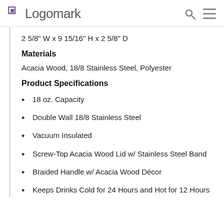Logomark
2 5/8" W x 9 15/16" H x 2 5/8" D
Materials
Acacia Wood, 18/8 Stainless Steel, Polyester
Product Specifications
18 oz. Capacity
Double Wall 18/8 Stainless Steel
Vacuum Insulated
Screw-Top Acacia Wood Lid w/ Stainless Steel Band
Braided Handle w/ Acacia Wood Décor
Keeps Drinks Cold for 24 Hours and Hot for 12 Hours